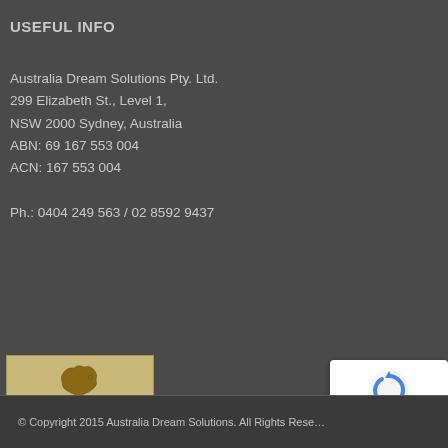USEFUL INFO
Australia Dream Solutions Pty. Ltd.
299 Elizabeth St., Level 1,
NSW 2000 Sydney, Australia
ABN: 69 167 553 004
ACN: 167 553 004

Ph.: 0404 249 563 / 02 8592 9437
[Figure (logo): Migration Agents Registration Number badge showing Australia map, number 1461712, and www.mara.gov.au]
© Copyright 2015 Australia Dream Solutions. All Rights Reserved